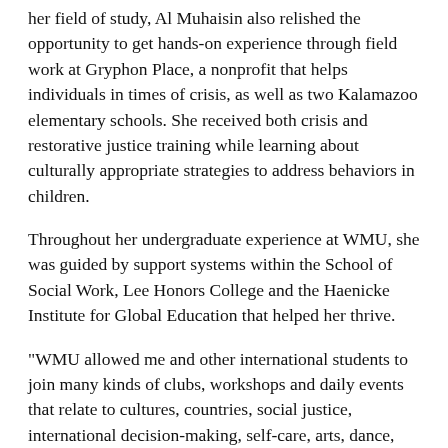her field of study, Al Muhaisin also relished the opportunity to get hands-on experience through field work at Gryphon Place, a nonprofit that helps individuals in times of crisis, as well as two Kalamazoo elementary schools. She received both crisis and restorative justice training while learning about culturally appropriate strategies to address behaviors in children.
Throughout her undergraduate experience at WMU, she was guided by support systems within the School of Social Work, Lee Honors College and the Haenicke Institute for Global Education that helped her thrive.
"WMU allowed me and other international students to join many kinds of clubs, workshops and daily events that relate to cultures, countries, social justice, international decision-making, self-care, arts, dance, languages and more," says Al Muhaisin. "WMU allows me to learn and discover and get many diverse opinions inside and outside the classroom."
She's excited for her next chapter as a graduate student at